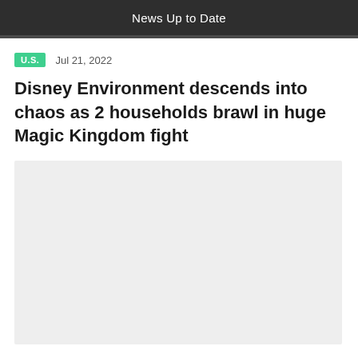News Up to Date
U.S.   Jul 21, 2022
Disney Environment descends into chaos as 2 households brawl in huge Magic Kingdom fight
[Figure (photo): Light gray image placeholder rectangle]